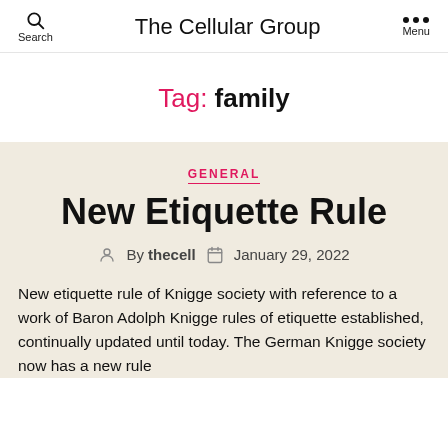The Cellular Group
Tag: family
GENERAL
New Etiquette Rule
By thecell  January 29, 2022
New etiquette rule of Knigge society with reference to a work of Baron Adolph Knigge rules of etiquette established, continually updated until today. The German Knigge society now has a new rule…